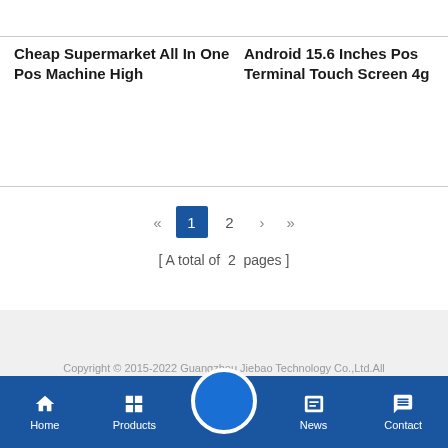Cheap Supermarket All In One Pos Machine High
Android 15.6 Inches Pos Terminal Touch Screen 4g
« 1 2 › »
[ A total of  2  pages ]
Copyright © 2015-2022 Guangzhou Jiebao Technology Co.,Ltd.All Rights Reserved.
Friendly Links :   Android Pos Terminal
Home  Products  News  Contact